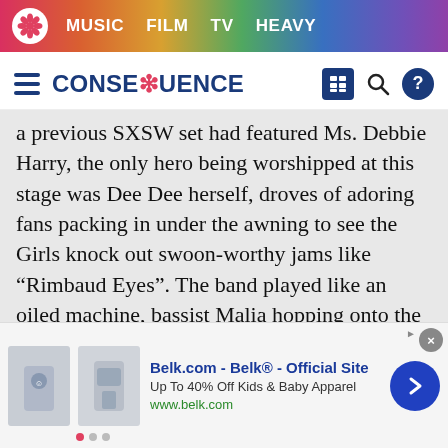MUSIC  FILM  TV  HEAVY
CONSEQUENCE
a previous SXSW set had featured Ms. Debbie Harry, the only hero being worshipped at this stage was Dee Dee herself, droves of adoring fans packing in under the awning to see the Girls knock out swoon-worthy jams like “Rimbaud Eyes”. The band played like an oiled machine, bassist Malia hopping onto the kick drum for a while and still dropping every weighty note with an almost supernatural precision. While their albums might run into some fuzz and haze, their live sets continue to run on a leaner energy, forgoing the synths and getting straight to the
[Figure (infographic): Advertisement banner: Belk.com - Belk® - Official Site. Up To 40% Off Kids & Baby Apparel. www.belk.com. Shows product images of children's clothing.]